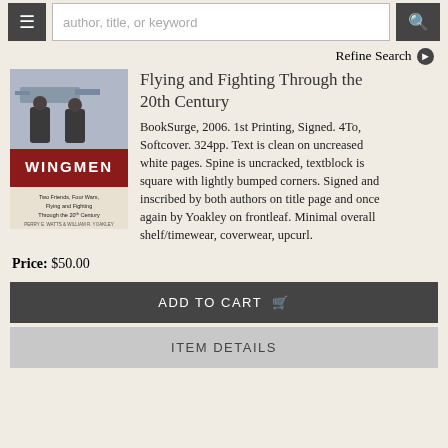author, title, or keyword
Refine Search
[Figure (photo): Book cover of WINGMEN: Two Friends, Four Wars, Flying and Fighting Through the 20th Century]
Flying and Fighting Through the 20th Century
BookSurge, 2006. 1st Printing, Signed. 4To, Softcover. 324pp. Text is clean on uncreased white pages. Spine is uncracked, textblock is square with lightly bumped corners. Signed and inscribed by both authors on title page and once again by Yoakley on frontleaf. Minimal overall shelf/timewear, coverwear, upcurl.
Price: $50.00